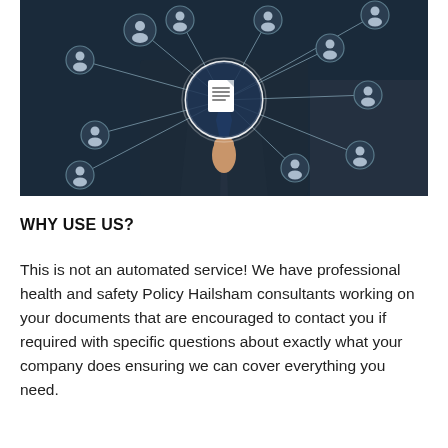[Figure (photo): A person in a dark suit pressing a glowing document icon in the center of a network diagram with person/user icons connected by lines, suggesting a digital professional network or document management system.]
WHY USE US?
This is not an automated service! We have professional health and safety Policy Hailsham consultants working on your documents that are encouraged to contact you if required with specific questions about exactly what your company does ensuring we can cover everything you need.